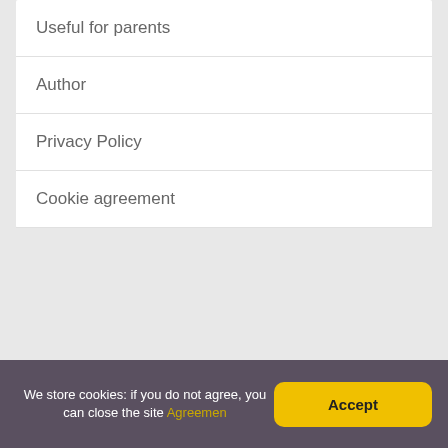Useful for parents
Author
Privacy Policy
Cookie agreement
We store cookies: if you do not agree, you can close the site Agreement